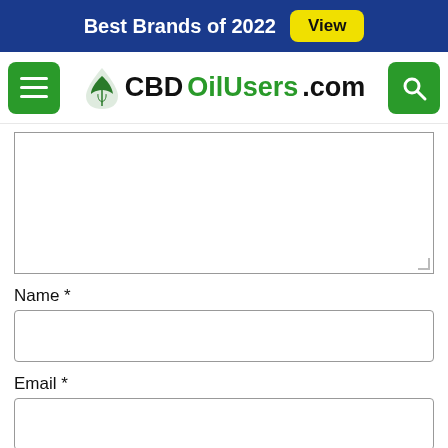Best Brands of 2022  View
[Figure (logo): CBDOilUsers.com logo with cannabis leaf icon, flanked by green menu button and green search button]
[Figure (screenshot): Comment textarea input field (empty)]
Name *
[Figure (screenshot): Name text input field (empty)]
Email *
[Figure (screenshot): Email text input field (empty)]
Post Comment